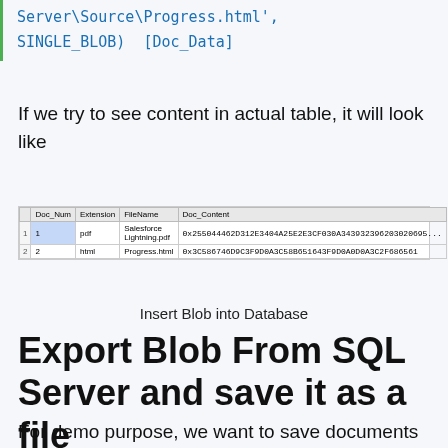Server\Source\Progress.html', SINGLE_BLOB) [Doc_Data]
If we try to see content in actual table, it will look like
[Figure (screenshot): A database table screenshot showing two rows with columns Doc_Num, Extension, FileName, Doc_Content. Row 1: 1, pdf, Salesforce Lightning.pdf, 0x255044462D312E3404A25E2E3CF030A343932396203020695... Row 2: 2, html, Progress.html, 0x3C586746D9C3F9D0A3C58B651643F9D0A0D0A3C2F686561]
Insert Blob into Database
Export Blob From SQL Server and save it as a file
For demo purpose, we want to save documents on local disc. We will use